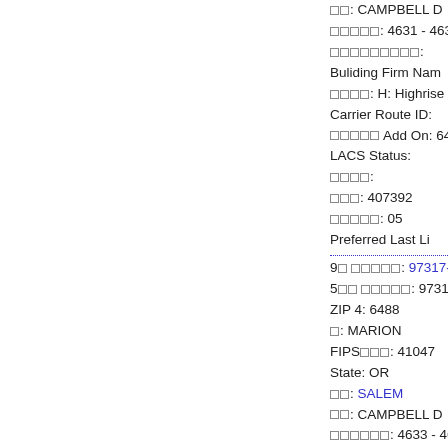□□: CAMPBELL D
□□□□□: 4631 - 4631
□□□□□□□□□:
Buliding Firm Nam
□□□□: H: Highrise
Carrier Route ID:
□□□□□ Add On: 648
LACS Status:
□□□□:
□□□: 407392
□□□□□: 05
Preferred Last Li
9□ □□□□□: 97317-64
5□□ □□□□□: 97317
ZIP 4: 6488
□: MARION
FIPS□□□: 41047
State: OR
□□: SALEM
□□: CAMPBELL D
□□□□□□: 4633 - 4633
□□□□□□□□□:
Buliding Firm Nam
□□□□: H: Highrise